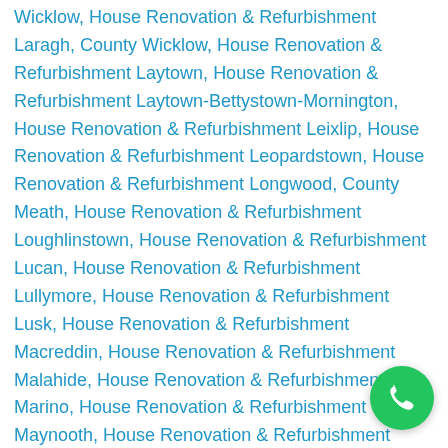Wicklow, House Renovation & Refurbishment Laragh, County Wicklow, House Renovation & Refurbishment Laytown, House Renovation & Refurbishment Laytown-Bettystown-Mornington, House Renovation & Refurbishment Leixlip, House Renovation & Refurbishment Leopardstown, House Renovation & Refurbishment Longwood, County Meath, House Renovation & Refurbishment Loughlinstown, House Renovation & Refurbishment Lucan, House Renovation & Refurbishment Lullymore, House Renovation & Refurbishment Lusk, House Renovation & Refurbishment Macreddin, House Renovation & Refurbishment Malahide, House Renovation & Refurbishment Marino, House Renovation & Refurbishment Maynooth, House Renovation & Refurbishment Meath, House Renovation & Refurbishment Milltown, House Renovation & Refurbishment Monasterevin, House
[Figure (other): Green circular phone/call button in the bottom right corner]